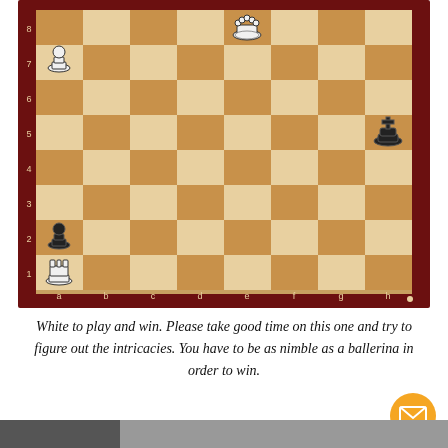[Figure (other): Chess puzzle diagram showing a chess board position. White pieces: Rook on a1, Pawn on a7 (white), Queen on e8. Black pieces: King on h5, Pawn on a2. Board labeled with ranks 1-8 on left and files a-h on bottom. Dark brown wooden board with dark red border.]
White to play and win. Please take good time on this one and try to figure out the intricacies. You have to be as nimble as a ballerina in order to win.